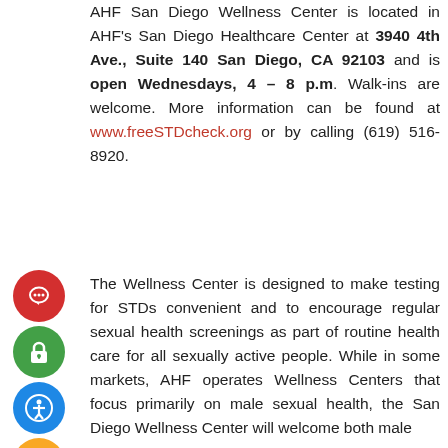AHF San Diego Wellness Center is located in AHF's San Diego Healthcare Center at 3940 4th Ave., Suite 140 San Diego, CA 92103 and is open Wednesdays, 4 – 8 p.m. Walk-ins are welcome. More information can be found at www.freeSTDcheck.org or by calling (619) 516-8920.
[Figure (infographic): Six colored social/accessibility icon circles on the left margin: red chat bubble, green lock, blue accessibility icon, orange envelope, purple A* translation icon, dark red heart/hands icon]
The Wellness Center is designed to make testing for STDs convenient and to encourage regular sexual health screenings as part of routine health care for all sexually active people. While in some markets, AHF operates Wellness Centers that focus primarily on male sexual health, the San Diego Wellness Center will welcome both male